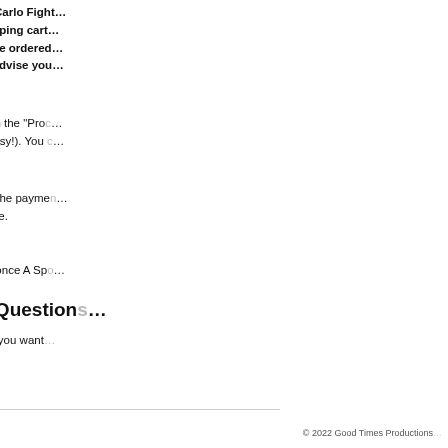Remember, for each special price Carlo Fight... A Sporting Chance. While the shopping cart... the Fight DVD as you want, if you've ordered... Chance, we will manually have to advise you... payment.
Once the order all looks okay, click on the "Pro... payment system (secure, safe and easy!). You ...
Once you've successfully completed the payme... a Thank You page here on our website.
We'll then get your order and send it once A Sp...
Still Not Sure? Have Question...
Best to contact us! Let us know what you want... PayPal to pay).
I hope that helps you! Thanks, Paula.
© 2022 Good Times Productions